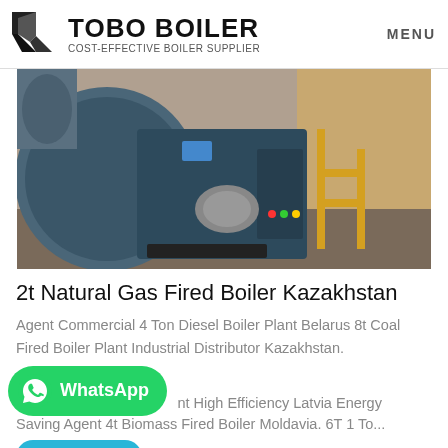TOBO BOILER COST-EFFECTIVE BOILER SUPPLIER
[Figure (photo): Industrial natural gas fired boiler, dark blue/grey metal casing with motor and control panel, yellow pipe fittings visible in background]
2t Natural Gas Fired Boiler Kazakhstan
Agent Commercial 4 Ton Diesel Boiler Plant Belarus 8t Coal Fired Boiler Plant Industrial Distributor Kazakhstan. ... nt High Efficiency Latvia Energy Saving Agent 4t Biomass Fired Boiler Moldavia. 6T 1 To...
[Figure (logo): WhatsApp button - green rounded button with WhatsApp icon and text]
Get Price